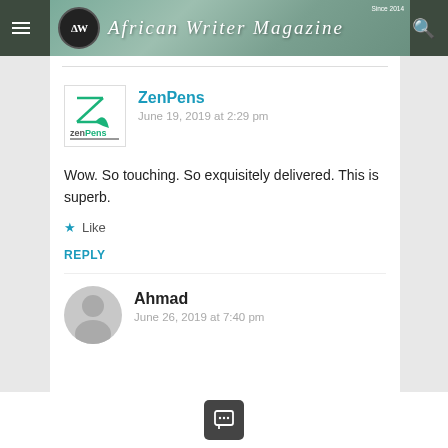African Writer Magazine
ZenPens
June 19, 2019 at 2:29 pm
Wow. So touching. So exquisitely delivered. This is superb.
Like
REPLY
Ahmad
June 26, 2019 at 7:40 pm